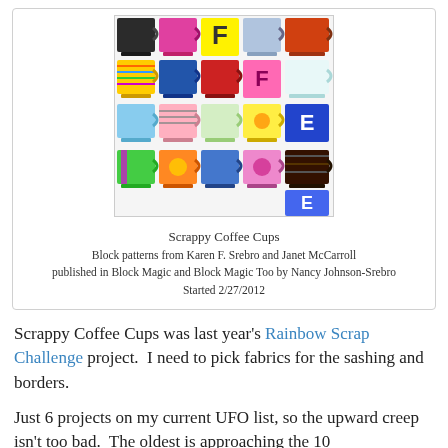[Figure (photo): A quilt made of colorful fabric coffee cups and mugs arranged in a grid, with letters spelling COFFEE and EE visible among the cup blocks. The cups display various patterns, colors, and designs on a white background.]
Scrappy Coffee Cups
Block patterns from Karen F. Srebro and Janet McCarroll published in Block Magic and Block Magic Too by Nancy Johnson-Srebro
Started 2/27/2012
Scrappy Coffee Cups was last year's Rainbow Scrap Challenge project.  I need to pick fabrics for the sashing and borders.
Just 6 projects on my current UFO list, so the upward creep isn't too bad.  The oldest is approaching the 10